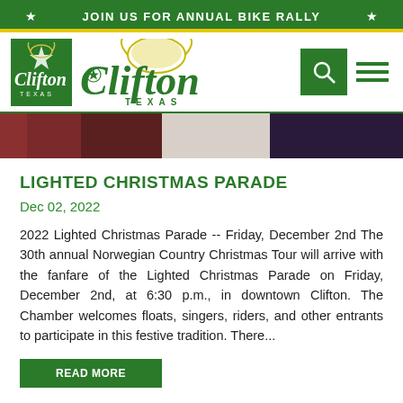JOIN US FOR ANNUAL BIKE RALLY
[Figure (logo): Clifton Texas city logo with Viking helmet and star in Texas shape on green background]
[Figure (photo): Partial photo of people in Christmas/Norwegian costumes, cropped at top]
LIGHTED CHRISTMAS PARADE
Dec 02, 2022
2022 Lighted Christmas Parade -- Friday, December 2nd The 30th annual Norwegian Country Christmas Tour will arrive with the fanfare of the Lighted Christmas Parade on Friday, December 2nd, at 6:30 p.m., in downtown Clifton. The Chamber welcomes floats, singers, riders, and other entrants to participate in this festive tradition. There...